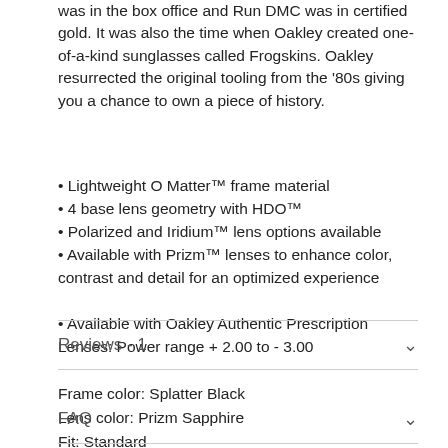was in the box office and Run DMC was in certified gold. It was also the time when Oakley created one-of-a-kind sunglasses called Frogskins. Oakley resurrected the original tooling from the '80s giving you a chance to own a piece of history.
Lightweight O Matter™ frame material
4 base lens geometry with HDO™
Polarized and Iridium™ lens options available
Available with Prizm™ lenses to enhance color, contrast and detail for an optimized experience
Available with Oakley Authentic Prescription Lenses: Power range + 2.00 to - 3.00
Frame color: Splatter Black
Lens color: Prizm Sapphire
Fit: Standard
Reviews  - 1
FAQ